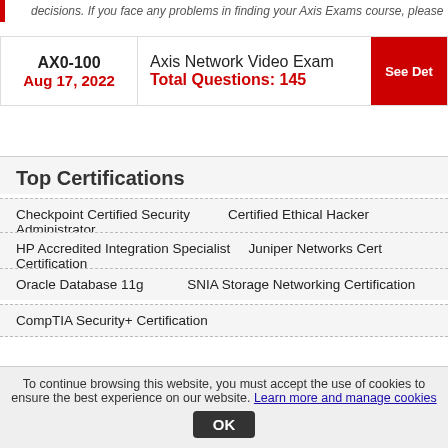decisions. If you face any problems in finding your Axis Exams course, please
| Code/Date | Exam | Action |
| --- | --- | --- |
| AX0-100
Aug 17, 2022 | Axis Network Video Exam
Total Questions: 145 | See Det |
Top Certifications
Checkpoint Certified Security Administrator | Certified Ethical Hacker
HP Accredited Integration Specialist Certification | Juniper Networks Cert
Oracle Database 11g | SNIA Storage Networking Certification
CompTIA Security+ Certification
To continue browsing this website, you must accept the use of cookies to ensure the best experience on our website. Learn more and manage cookies OK